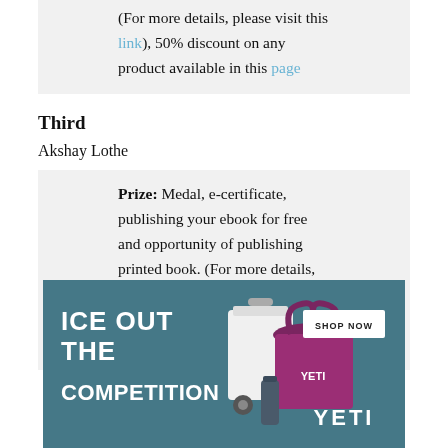(For more details, please visit this link), 50% discount on any product available in this page
Third
Akshay Lothe
Prize: Medal, e-certificate, publishing your ebook for free and opportunity of publishing printed book. (For more details, please visit this link), 50% discount on any product available in this page
[Figure (photo): YETI advertisement banner: 'ICE OUT THE COMPETITION' with YETI cooler products and a SHOP NOW button]